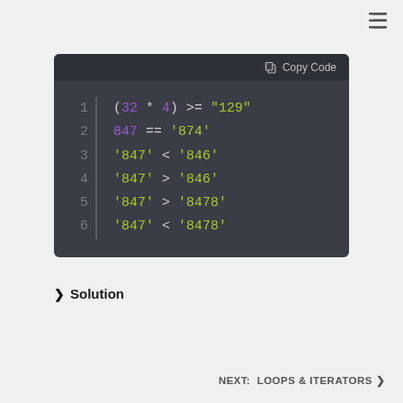[Figure (screenshot): Menu/list icon in top-right corner]
[Figure (screenshot): Dark-themed code block with line numbers showing 6 lines of code with syntax highlighting. Lines: 1: (32 * 4) >= "129"  2: 847 == '874'  3: '847' < '846'  4: '847' > '846'  5: '847' > '8478'  6: '847' < '8478']
❯ Solution
NEXT:  LOOPS & ITERATORS ❯